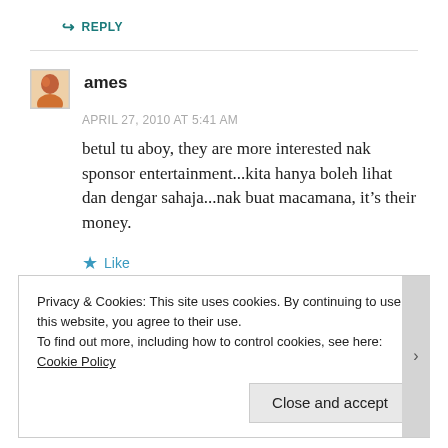↳ REPLY
ames
APRIL 27, 2010 AT 5:41 AM
betul tu aboy, they are more interested nak sponsor entertainment...kita hanya boleh lihat dan dengar sahaja...nak buat macamana, it's their money.
★ Like
↳ REPLY
Privacy & Cookies: This site uses cookies. By continuing to use this website, you agree to their use.
To find out more, including how to control cookies, see here: Cookie Policy
Close and accept